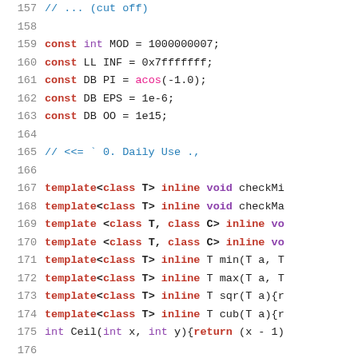[Figure (screenshot): Source code editor screenshot showing C++ code lines 157-182. Lines include const variable declarations (MOD, INF, PI, EPS, OO), a Daily Use comment section marker, template function declarations (checkMi, checkMa, min, max, sqr, cub), a Ceil integer function, a Bitwise Operation comment section, and inline bitwise helper functions (_1, _U).]